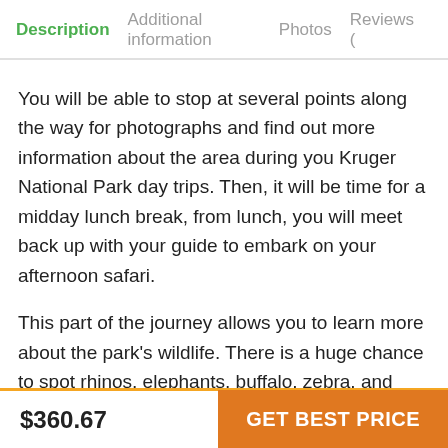Description  Additional information  Photos  Reviews (
You will be able to stop at several points along the way for photographs and find out more information about the area during you Kruger National Park day trips. Then, it will be time for a midday lunch break, from lunch, you will meet back up with your guide to embark on your afternoon safari.
This part of the journey allows you to learn more about the park's wildlife. There is a huge chance to spot rhinos, elephants, buffalo, zebra, and many other creatures. You will then be driven back to the lodge, and from there, take a bus back to Hazyview.
$360.67  GET BEST PRICE